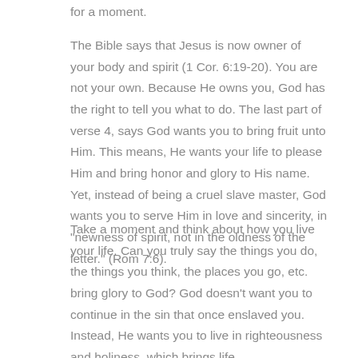for a moment.
The Bible says that Jesus is now owner of your body and spirit (1 Cor. 6:19-20). You are not your own. Because He owns you, God has the right to tell you what to do. The last part of verse 4, says God wants you to bring fruit unto Him. This means, He wants your life to please Him and bring honor and glory to His name. Yet, instead of being a cruel slave master, God wants you to serve Him in love and sincerity, in "newness of spirit, not in the oldness of the letter." (Rom 7:6).
Take a moment and think about how you live your life. Can you truly say the things you do, the things you think, the places you go, etc. bring glory to God? God doesn't want you to continue in the sin that once enslaved you. Instead, He wants you to live in righteousness and holiness, which brings life.